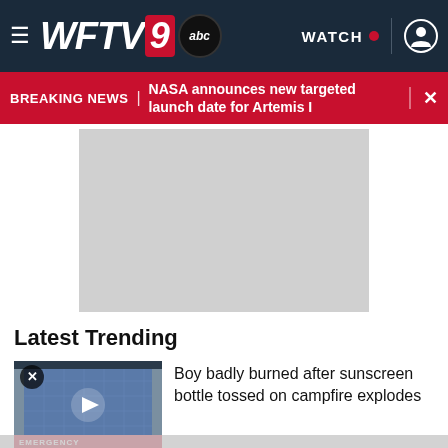[Figure (screenshot): WFTV 9 ABC navigation bar with hamburger menu, logo, WATCH button with red dot, and user icon on dark navy background]
BREAKING NEWS | NASA announces new targeted launch date for Artemis I
[Figure (photo): Gray placeholder advertisement box]
Latest Trending
[Figure (photo): Emergency room building exterior with blue glass facade, red EMERGENCY sign at bottom, and a play button overlay]
Boy badly burned after sunscreen bottle tossed on campfire explodes